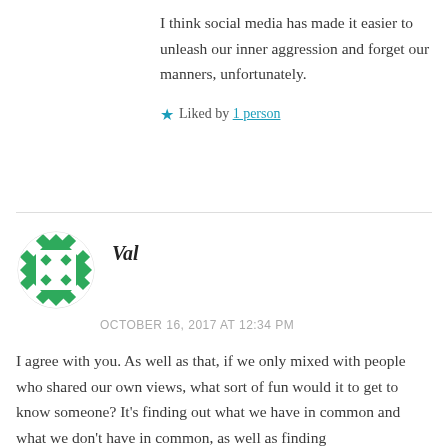I think social media has made it easier to unleash our inner aggression and forget our manners, unfortunately.
★ Liked by 1 person
Val
OCTOBER 16, 2017 AT 12:34 PM
I agree with you. As well as that, if we only mixed with people who shared our own views, what sort of fun would it to get to know someone? It's finding out what we have in common and what we don't have in common, as well as finding what we disagree and agree on...